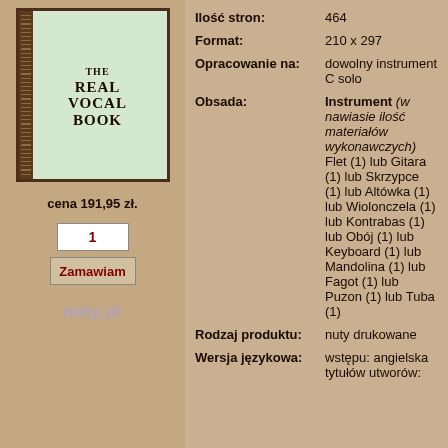[Figure (illustration): Book cover for 'The Real Vocal Book' with green background and decorative border, spiral binding on left side]
cena 191,95 zł.
1
Zamawiam
nuty.pl
| Ilość stron: | 464 |
| Format: | 210 x 297 |
| Opracowanie na: | dowolny instrument C solo |
| Obsada: | Instrument (w nawiasie ilość materiałów wykonawczych) Flet (1) lub Gitara (1) lub Skrzypce (1) lub Altówka (1) lub Wiolonczela (1) lub Kontrabas (1) lub Obój (1) lub Keyboard (1) lub Mandolina (1) lub Fagot (1) lub Puzon (1) lub Tuba (1) |
| Rodzaj produktu: | nuty drukowane |
| Wersja językowa: | wstępu: angielska tytułów utworów: |